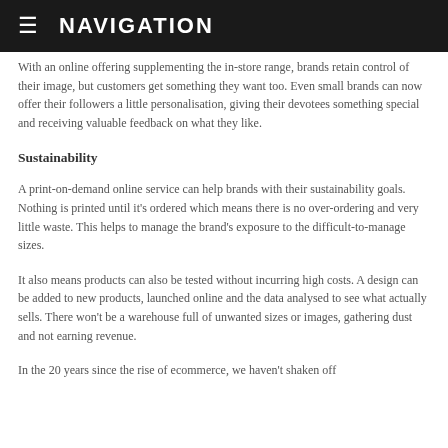≡  NAVIGATION
With an online offering supplementing the in-store range, brands retain control of their image, but customers get something they want too. Even small brands can now offer their followers a little personalisation, giving their devotees something special and receiving valuable feedback on what they like.
Sustainability
A print-on-demand online service can help brands with their sustainability goals. Nothing is printed until it's ordered which means there is no over-ordering and very little waste. This helps to manage the brand's exposure to the difficult-to-manage sizes.
It also means products can also be tested without incurring high costs. A design can be added to new products, launched online and the data analysed to see what actually sells. There won't be a warehouse full of unwanted sizes or images, gathering dust and not earning revenue.
In the 20 years since the rise of ecommerce, we haven't shaken off